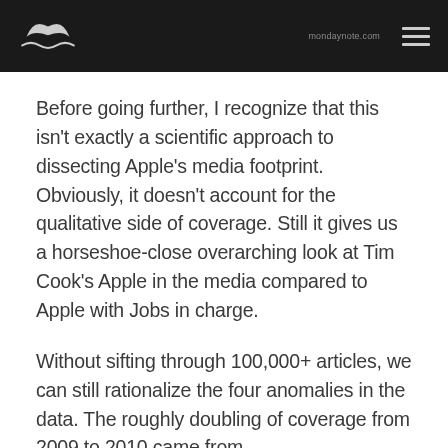[logo: whale tail] [nav url] [hamburger menu]
Before going further, I recognize that this isn't exactly a scientific approach to dissecting Apple's media footprint. Obviously, it doesn't account for the qualitative side of coverage. Still it gives us a horseshoe-close overarching look at Tim Cook's Apple in the media compared to Apple with Jobs in charge.
Without sifting through 100,000+ articles, we can still rationalize the four anomalies in the data. The roughly doubling of coverage from 2009 to 2010 came from